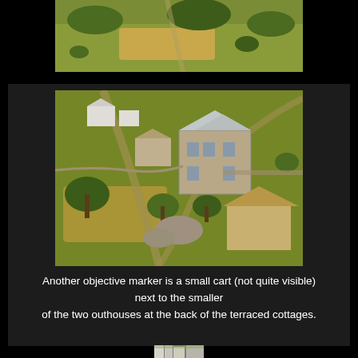[Figure (photo): Top partial photo of a wargame miniature tabletop scene showing green fields with hedgerows and trees, aerial view, cropped at top]
[Figure (photo): Wargame miniature tabletop scene showing a large stone manor house, outhouses, trees, fields with wheat-colored areas, stone walls, and smaller buildings, aerial perspective view]
Another objective marker is a small cart (not quite visible) next to the smaller
of the two outhouses at the back of the terraced cottages.
[Figure (photo): Bottom partial photo of a wargame miniature tabletop scene showing cottages and church-like buildings, cropped showing only the top portion]